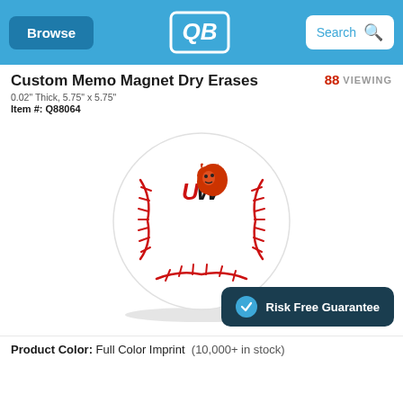Browse | [Logo] | Search
Custom Memo Magnet Dry Erases
0.02" Thick, 5.75" x 5.75"
Item #: Q88064
88 VIEWING
[Figure (photo): A white baseball with red stitching and a UW Wildcat mascot logo printed on the front]
Risk Free Guarantee
Product Color: Full Color Imprint  (10,000+ in stock)